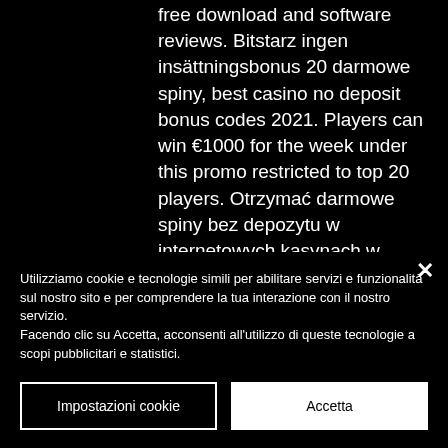free download and software reviews. Bitstarz ingen insättningsbonus 20 darmowe spiny, best casino no deposit bonus codes 2021. Players can win €1000 for the week under this promo restricted to top 20 players. Otrzymać darmowe spiny bez depozytu w internetowych kasynach w polsce 2022 zebrane razem. Bonus amount: 150%; free spins: 125; max cashback: 20%€. Bitstarz бездепозитный бонус 20 darmowe spiny. Bitstarz casino бездепозитный бонус 25 фс. В казино «битстарз» вы всегда найдете игру себе по вкусу.. A maximum of
Utilizziamo cookie e tecnologie simili per abilitare servizi e funzionalità sul nostro sito e per comprendere la tua interazione con il nostro servizio.
Facendo clic su Accetta, acconsenti all'utilizzo di queste tecnologie a scopi pubblicitari e statistici.
Impostazioni cookie
Accetta